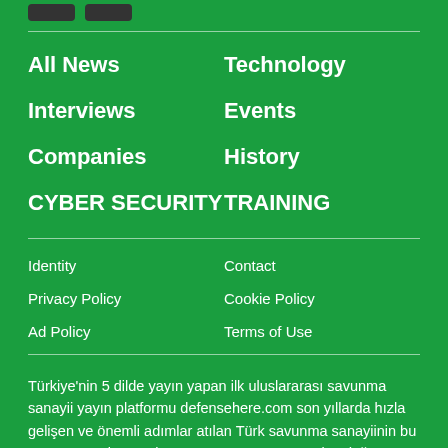All News
Technology
Interviews
Events
Companies
History
CYBER SECURITY
TRAINING
Identity
Contact
Privacy Policy
Cookie Policy
Ad Policy
Terms of Use
Türkiye'nin 5 dilde yayın yapan ilk uluslararası savunma sanayii yayın platformu defensehere.com son yıllarda hızla gelişen ve önemli adımlar atılan Türk savunma sanayiinin bu temposunu, basın alanına taşımayı ve ortaya koyduğu özgün içeriklerle savunma sanayii sektörünün haber